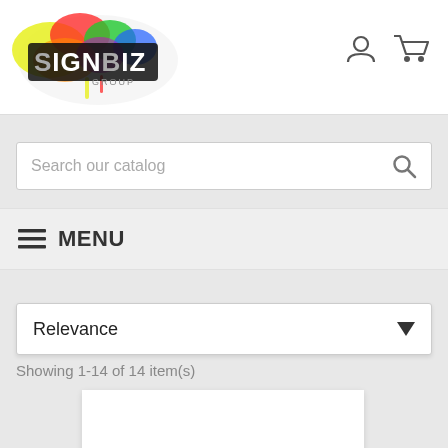[Figure (logo): SignBiz Group logo with colorful paint splash background and white text]
Search our catalog
MENU
Relevance
Showing 1-14 of 14 item(s)